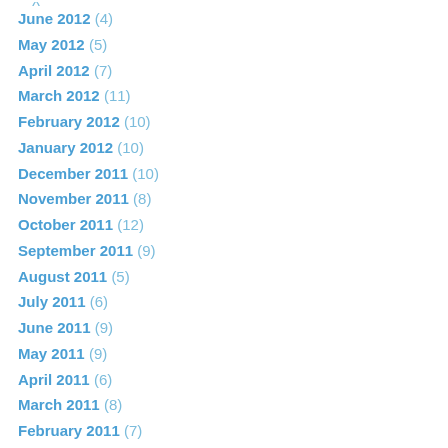June 2012 (4)
May 2012 (5)
April 2012 (7)
March 2012 (11)
February 2012 (10)
January 2012 (10)
December 2011 (10)
November 2011 (8)
October 2011 (12)
September 2011 (9)
August 2011 (5)
July 2011 (6)
June 2011 (9)
May 2011 (9)
April 2011 (6)
March 2011 (8)
February 2011 (7)
January 2011 (7)
December 2010 (7)
November 2010 (8)